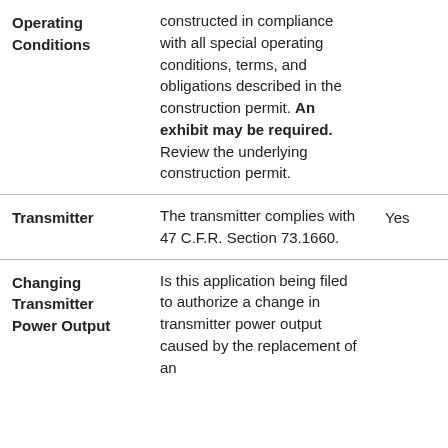|  |  |  |
| --- | --- | --- |
| Operating Conditions | constructed in compliance with all special operating conditions, terms, and obligations described in the construction permit. An exhibit may be required. Review the underlying construction permit. |  |
| Transmitter | The transmitter complies with 47 C.F.R. Section 73.1660. | Yes |
| Changing Transmitter Power Output | Is this application being filed to authorize a change in transmitter power output caused by the replacement of an ... |  |